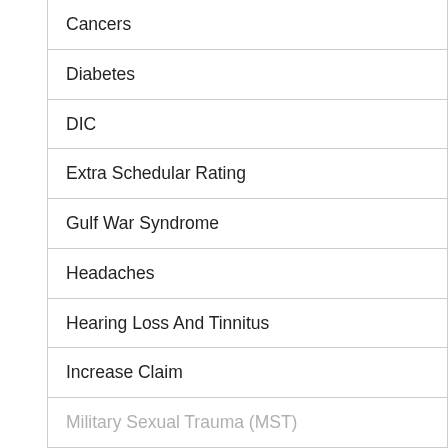Cancers
Diabetes
DIC
Extra Schedular Rating
Gulf War Syndrome
Headaches
Hearing Loss And Tinnitus
Increase Claim
Military Sexual Trauma (MST)
Muscles Bones And Joints
Nerve Conditions